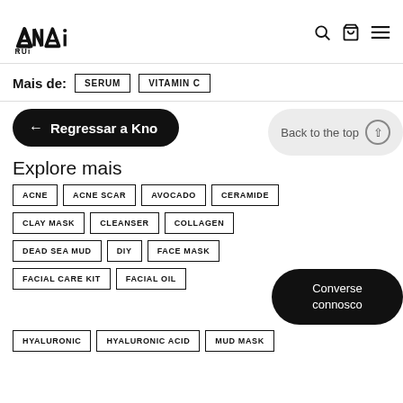[Figure (logo): ANai RUi brand logo in black, stylized letter A with N, A, i on top row and R, U, i on bottom row]
Mais de: SERUM VITAMIN C
← Regressar a Kno... Back to the top ↑
Explore mais
ACNE
ACNE SCAR
AVOCADO
CERAMIDE
CLAY MASK
CLEANSER
COLLAGEN
DEAD SEA MUD
DIY
FACE MASK
FACIAL CARE KIT
FACIAL OIL
Converse connosco
HYALURONIC
HYALURONIC ACID
MUD MASK